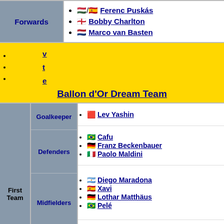|  | Forwards | Players |
| --- | --- | --- |
|  | Forwards | Ferenc Puskás, Bobby Charlton, Marco van Basten |
v
t
e
Ballon d'Or Dream Team
| Team | Position | Players |
| --- | --- | --- |
| First Team | Goalkeeper | Lev Yashin |
| First Team | Defenders | Cafu, Franz Beckenbauer, Paolo Maldini |
| First Team | Midfielders | Diego Maradona, Xavi, Lothar Matthäus, Pelé |
| First Team | Forwards | Lionel Messi, Ronaldo, Cristiano Ronaldo |